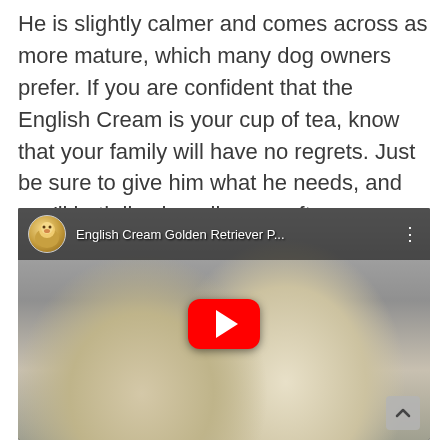He is slightly calmer and comes across as more mature, which many dog owners prefer. If you are confident that the English Cream is your cup of tea, know that your family will have no regrets. Just be sure to give him what he needs, and you'll both live happily ever after.
[Figure (screenshot): YouTube video embed showing two English Cream Golden Retriever puppies, one licking the other, sitting on stone steps. A red YouTube play button is centered. The video toolbar shows a thumbnail of a golden retriever puppy and the title 'English Cream Golden Retriever P...'. A scroll-up arrow button is in the bottom right corner.]